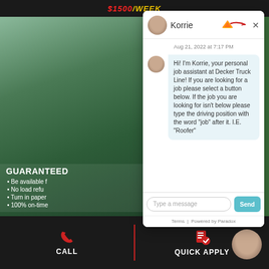$1500/WEEK
[Figure (screenshot): Chat widget overlay showing Korrie the virtual job assistant for Decker Truck Line with a message bubble and text input]
Aug 21, 2022 at 7:17 PM
Hi! I'm Korrie, your personal job assistant at Decker Truck Line! If you are looking for a job please select a button below. If the job you are looking for isn't below please type the driving position with the word "job" after it. I.E. "Roofer"
Type a message
Terms | Powered by Paradox
GUARANTEED
Be available f
No load refu
Turn in paper
100% on-time
CALL    QUICK APPLY